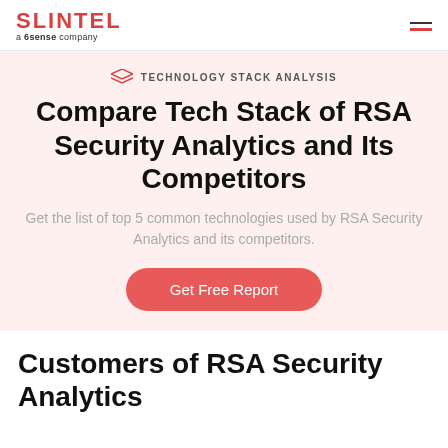SLINTEL a 6sense company
TECHNOLOGY STACK ANALYSIS
Compare Tech Stack of RSA Security Analytics and Its Competitors
Get the list of top 5 common technologies used by RSA Security Analytics and its competitors.
Get Free Report
Customers of RSA Security Analytics